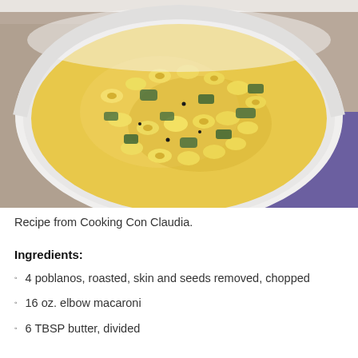[Figure (photo): A white ceramic bowl filled with creamy yellow macaroni and cheese with roasted poblano pepper pieces mixed throughout, placed on a granite surface with a purple cloth visible in the background.]
Recipe from Cooking Con Claudia.
Ingredients:
4 poblanos, roasted, skin and seeds removed, chopped
16 oz. elbow macaroni
6 TBSP butter, divided